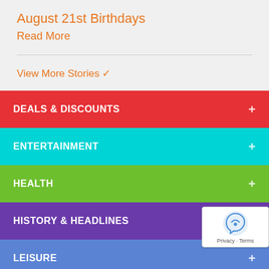August 21st Birthdays
Read More
View More Stories ✔
DEALS & DISCOUNTS +
ENTERTAINMENT +
HEALTH +
HISTORY & HEADLINES +
LEISURE +
MORE +